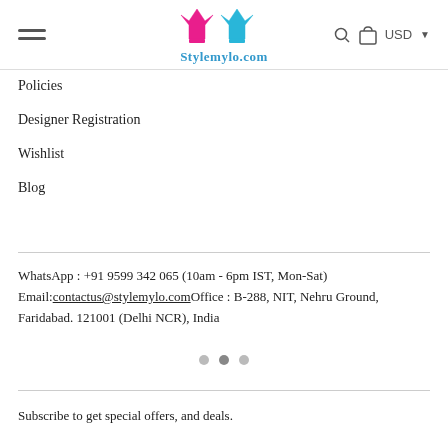Stylemylo.com
Policies
Designer Registration
Wishlist
Blog
WhatsApp : +91 9599 342 065 (10am - 6pm IST, Mon-Sat)
Email: contactus@stylemylo.com Office : B-288, NIT, Nehru Ground, Faridabad. 121001 (Delhi NCR), India
Subscribe to get special offers, and deals.